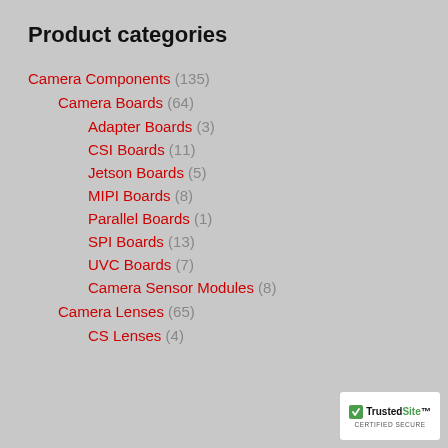Product categories
Camera Components (135)
Camera Boards (64)
Adapter Boards (3)
CSI Boards (11)
Jetson Boards (5)
MIPI Boards (8)
Parallel Boards (1)
SPI Boards (13)
UVC Boards (7)
Camera Sensor Modules (8)
Camera Lenses (65)
CS Lenses (4)
[Figure (logo): TrustedSite Certified Secure badge]